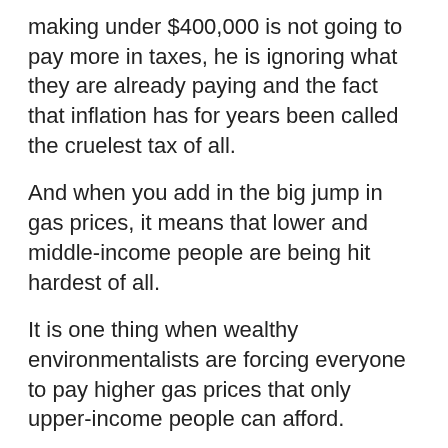making under $400,000 is not going to pay more in taxes, he is ignoring what they are already paying and the fact that inflation has for years been called the cruelest tax of all.
And when you add in the big jump in gas prices, it means that lower and middle-income people are being hit hardest of all.
It is one thing when wealthy environmentalists are forcing everyone to pay higher gas prices that only upper-income people can afford.
But it becomes much worse when it helps an evil man like Putin become much richer and enables him to finance a war where many thousands are being killed.
Some Democrats who possibly feel a little guilty about this have been loudly demanding